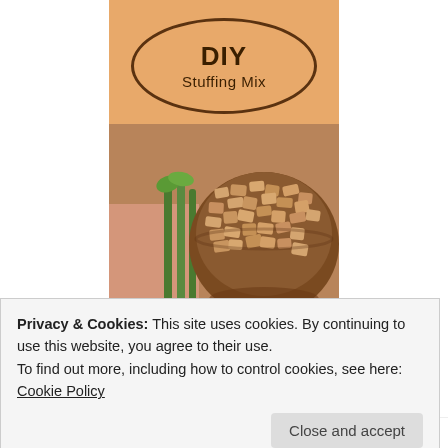[Figure (illustration): Book cover with orange/peach background. An oval border contains the title 'DIY Stuffing Mix' in handwritten-style font. Below the oval is a photograph of a wooden bowl filled with bread croutons/stuffing pieces, with green celery stalks and what appears to be an onion visible to the left. Below the photo is the tagline 'Not Just for Thanksgiving' in cursive.]
Privacy & Cookies: This site uses cookies. By continuing to use this website, you agree to their use.
To find out more, including how to control cookies, see here:
Cookie Policy
Close and accept
incomplete without it. I make a big batch every